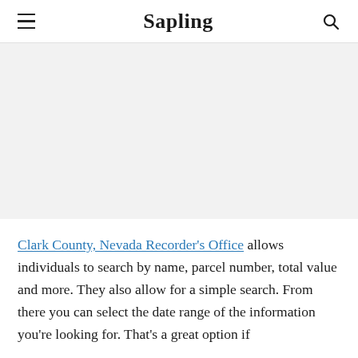≡  Sapling  🔍
[Figure (other): Gray advertisement/image placeholder area]
Clark County, Nevada Recorder's Office allows individuals to search by name, parcel number, total value and more. They also allow for a simple search. From there you can select the date range of the information you're looking for. That's a great option if